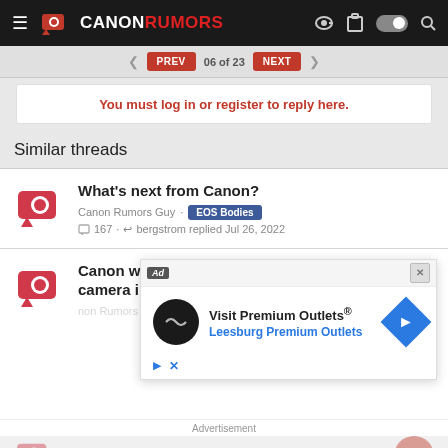Canon Rumors - header navigation
PREV | 06 of 23 | NEXT - pagination
You must log in or register to reply here.
Similar threads
What's next from Canon? - Canon Rumors Guy · EOS Bodies - 167 replies · bergstrom replied Jul 26, 2022
Canon will release an RF mount 'vlogging' camera in 2022 [CR3] - Canon Rumors Guy · EOS Bodies
[Figure (screenshot): Advertisement overlay showing 'Visit Premium Outlets® Leesburg Premium Outlets' with navigation arrow icon]
Advertisement